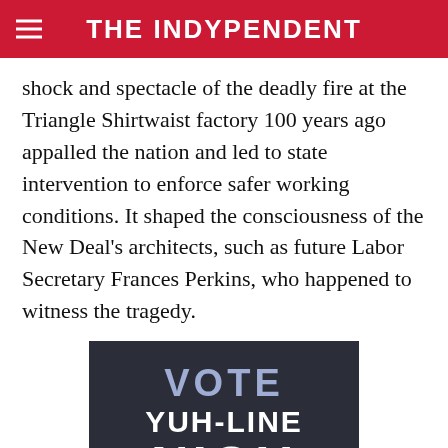THE INDYPENDENT
shock and spectacle of the deadly fire at the Triangle Shirtwaist factory 100 years ago appalled the nation and led to state intervention to enforce safer working conditions. It shaped the consciousness of the New Deal's architects, such as future Labor Secretary Frances Perkins, who happened to witness the tragedy.
[Figure (other): Campaign advertisement: VOTE YUH-LINE NIOU FOR CONGRESS - 牛毓琳 - FOR NY-10 ON AUGUST 23RD, dark background with white and light blue/purple text]